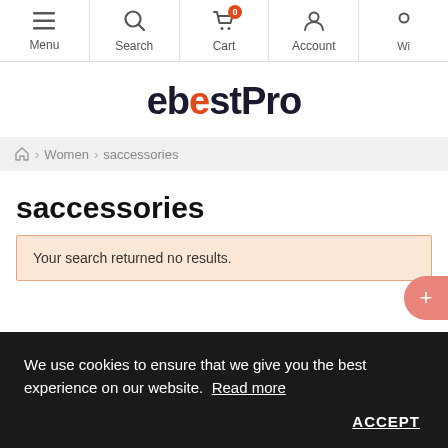Menu | Search | Cart (0) | Account | Wi...
[Figure (logo): ebestPro logo with orange 'e' circle letter and bold dark text]
Home > Women > saccessories
saccessories
Your search returned no results.
We use cookies to ensure that we give you the best experience on our website. Read more
ACCEPT
Unisex